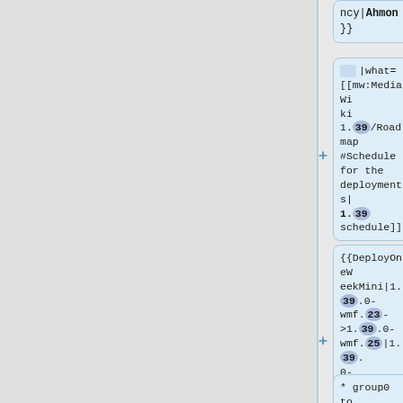ncy|Ahmon}}
|what=[[mw:MediaWiki 1.39/Roadmap#Schedule for the deployments|1.39 schedule]]
{{DeployOneWeekMini|1.39.0-wmf.23->1.39.0-wmf.25|1.39.0-wmf.23|1.39.0-wmf.23}}
* group0 to [[mw:MediaWi